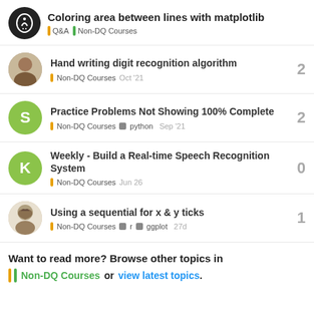Coloring area between lines with matplotlib | Q&A | Non-DQ Courses
Hand writing digit recognition algorithm | Non-DQ Courses Oct '21 | replies: 2
Practice Problems Not Showing 100% Complete | Non-DQ Courses python Sep '21 | replies: 2
Weekly - Build a Real-time Speech Recognition System | Non-DQ Courses Jun 26 | replies: 0
Using a sequential for x & y ticks | Non-DQ Courses r ggplot 27d | replies: 1
Want to read more? Browse other topics in Non-DQ Courses or view latest topics.